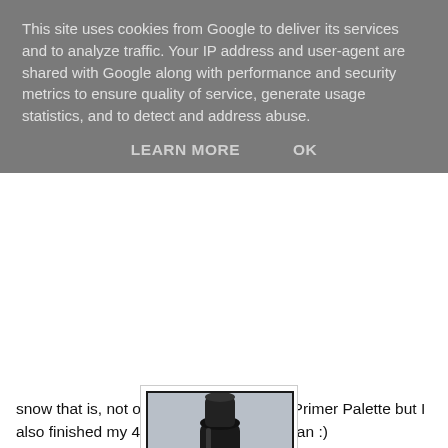This site uses cookies from Google to deliver its services and to analyze traffic. Your IP address and user-agent are shared with Google along with performance and security metrics to ensure quality of service, generate usage statistics, and to detect and address abuse.
LEARN MORE   OK
snow that is, not only did I get my Sleek Primer Palette but I also finished my 4th item on Project 10 Pan :)
[Figure (photo): A black mascara tube with an orange band near the middle. The tube has cursive white text reading 'Big fake' on the lower portion.]